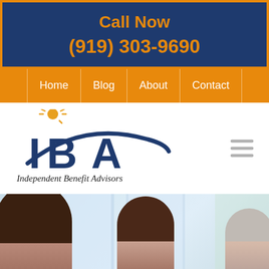Call Now
(919) 303-9690
Home | Blog | About | Contact
[Figure (logo): IBA - Independent Benefit Advisors logo with sun burst graphic above a blue swoosh arc]
[Figure (photo): Three smiling professionals (two women, one older man) in a bright office environment, blurred background]